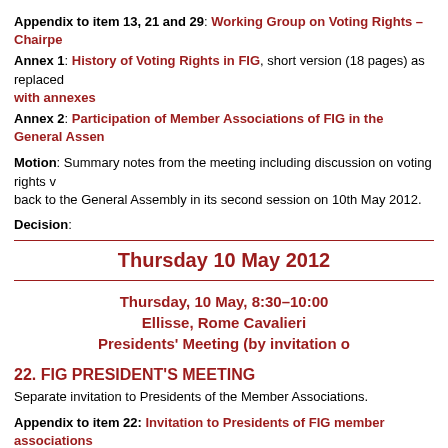Appendix to item 13, 21 and 29: Working Group on Voting Rights – Chairpe…
Annex 1: History of Voting Rights in FIG, short version (18 pages) as replaced… with annexes
Annex 2: Participation of Member Associations of FIG in the General Assen…
Motion: Summary notes from the meeting including discussion on voting rights v… back to the General Assembly in its second session on 10th May 2012.
Decision:
Thursday 10 May 2012
Thursday, 10 May, 8:30–10:00
Ellisse, Rome Cavalieri
Presidents' Meeting (by invitation o…
22. FIG PRESIDENT'S MEETING
Separate invitation to Presidents of the Member Associations.
Appendix to item 22: Invitation to Presidents of FIG member associations…